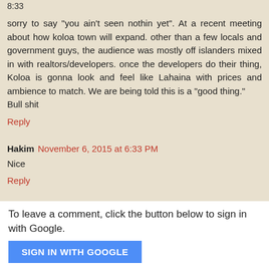8:33
sorry to say "you ain't seen nothin yet". At a recent meeting about how koloa town will expand. other than a few locals and government guys, the audience was mostly off islanders mixed in with realtors/developers. once the developers do their thing, Koloa is gonna look and feel like Lahaina with prices and ambience to match. We are being told this is a "good thing."
Bull shit
Reply
Hakim  November 6, 2015 at 6:33 PM
Nice
Reply
To leave a comment, click the button below to sign in with Google.
SIGN IN WITH GOOGLE